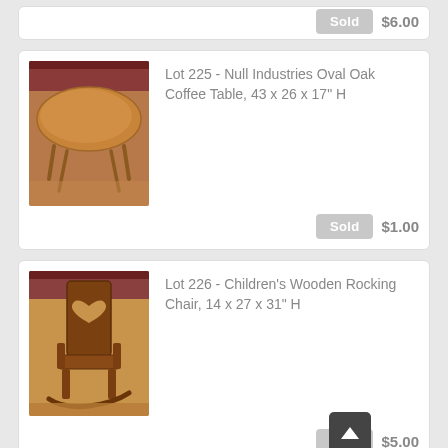Sold   $6.00
[Figure (photo): Oval oak coffee table on legs, viewed from above-side angle]
Lot 225 - Null Industries Oval Oak Coffee Table, 43 x 26 x 17" H
Sold   $1.00
[Figure (photo): Children's wooden rocking chair with heart cutout in back, viewed from front]
Lot 226 - Children's Wooden Rocking Chair, 14 x 27 x 31" H
Sold   $5.00